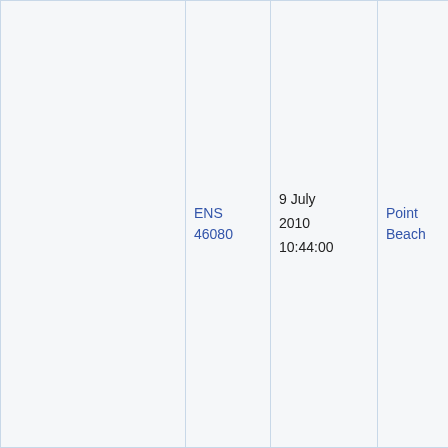|  | ENS 46080 | 9 July 2010 10:44:00 | Point Beach | NRC Region 3 | N S |
| --- | --- | --- | --- | --- | --- |
|  | ENS 46080 | 9 July 2010 10:44:00 | Point Beach | NRC Region 3 | N... |